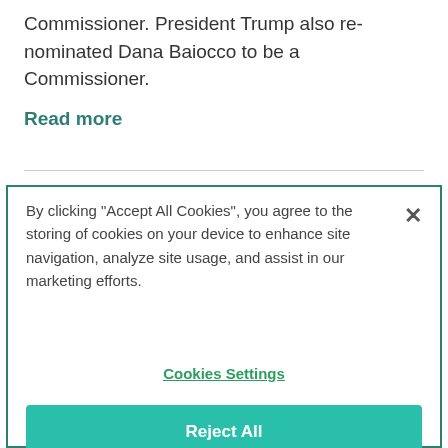Commissioner. President Trump also re-nominated Dana Baiocco to be a Commissioner.
Read more
By clicking "Accept All Cookies", you agree to the storing of cookies on your device to enhance site navigation, analyze site usage, and assist in our marketing efforts.
Cookies Settings
Reject All
Accept Cookies